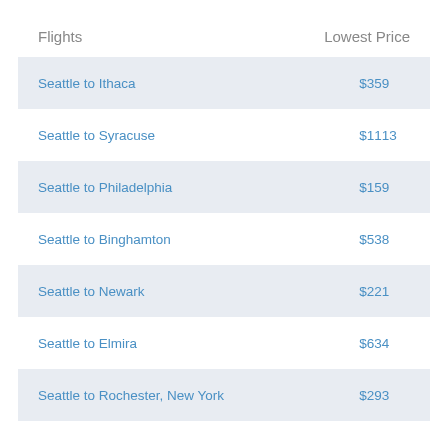| Flights | Lowest Price |
| --- | --- |
| Seattle to Ithaca | $359 |
| Seattle to Syracuse | $1113 |
| Seattle to Philadelphia | $159 |
| Seattle to Binghamton | $538 |
| Seattle to Newark | $221 |
| Seattle to Elmira | $634 |
| Seattle to Rochester, New York | $293 |